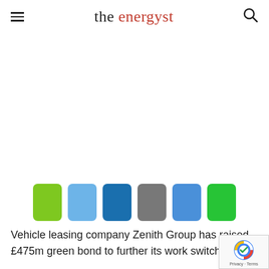the energyst
[Figure (illustration): Six colored rectangular swatches in a row: lime green, light blue, dark blue, gray, soft blue, bright green]
Vehicle leasing company Zenith Group has raised £475m green bond to further its work switching to b...